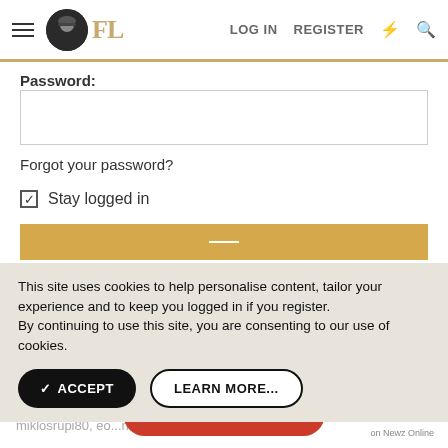FL  LOG IN  REGISTER
Password:
Forgot your password?
Stay logged in
This site uses cookies to help personalise content, tailor your experience and to keep you logged in if you register.
By continuing to use this site, you are consenting to our use of cookies.
ACCEPT   LEARN MORE...
Polar, Kenan, Zachary, Monitor, ParkerFM, DEV. Woulf, Rawky, Oskinator, Itsbecomingaproblem, Edward, Xysterz, MrProper, miklosrupi80, eo...n, David r
Total: 186 members